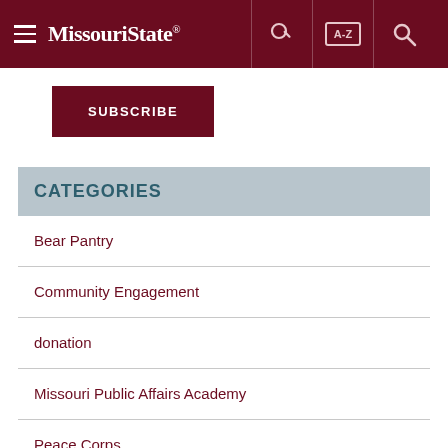Missouri State
SUBSCRIBE
CATEGORIES
Bear Pantry
Community Engagement
donation
Missouri Public Affairs Academy
Peace Corps